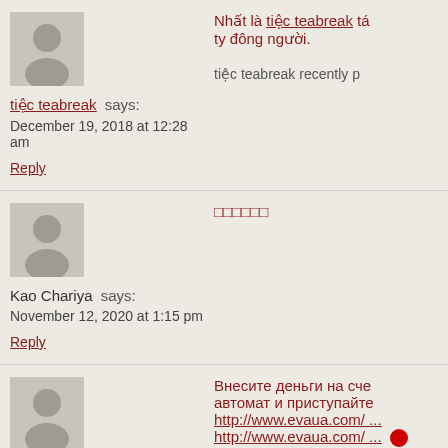[Figure (illustration): Default user avatar placeholder (grey silhouette)]
tiệc teabreak says:
December 19, 2018 at 12:28 am
Reply
Nhất là tiệc teabreak tá... ty đông người.
tiệc teabreak recently p
[Figure (illustration): Default user avatar placeholder (grey silhouette)]
Kao Chariya says:
November 12, 2020 at 1:15 pm
Reply
□□□□□□
[Figure (illustration): Default user avatar placeholder (grey silhouette)]
http://www.evaua.com/ says:
Внесите деньги на сче... автомат и приступайте...
http://www.evaua.com/ ...
http://www.evaua.com/ ...